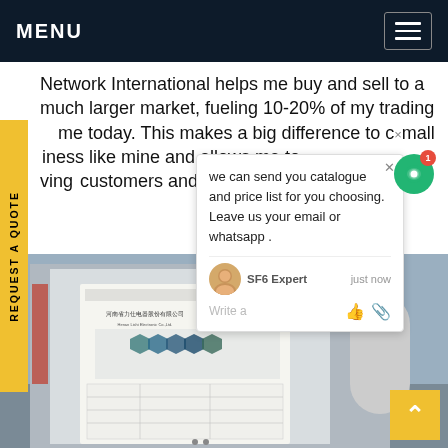MENU
Network International helps me buy and sell to a much larger market, fueling 10-20% of my trading volume today. This makes a big difference to a small business like mine and allows me to [keep] growing customers and my craft.Get pri[ce…]
we can send you catalogue and price list for you choosing.
Leave us your email or whatsapp .

SF6 Expert    just now
Write a
[Figure (photo): Photo of an industrial electrical equipment panel/cabinet with Chinese text documentation sheet showing hexagonal diagrams and a data table, outdoors near industrial structures.]
REQUEST A QUOTE